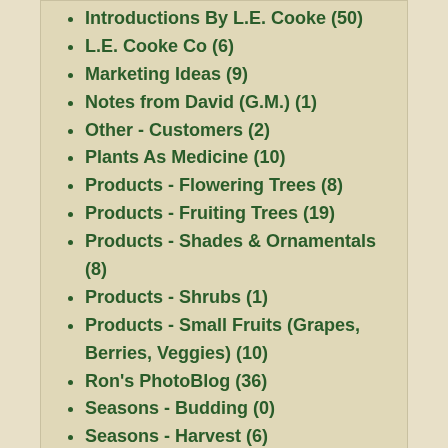Introductions By L.E. Cooke (50)
L.E. Cooke Co (6)
Marketing Ideas (9)
Notes from David (G.M.) (1)
Other - Customers (2)
Plants As Medicine (10)
Products - Flowering Trees (8)
Products - Fruiting Trees (19)
Products - Shades & Ornamentals (8)
Products - Shrubs (1)
Products - Small Fruits (Grapes, Berries, Veggies) (10)
Ron's PhotoBlog (36)
Seasons - Budding (0)
Seasons - Harvest (6)
Seasons - Planting (0)
Seasons - Propagation (0)
BLOG TAG CLOUD
4In1 Fruit Trees   4N1 Apples   4N1 Pears   Acer buergeranum   Almonds   Althea   Angel Red Pomegranate   Apple   Apple Pio...